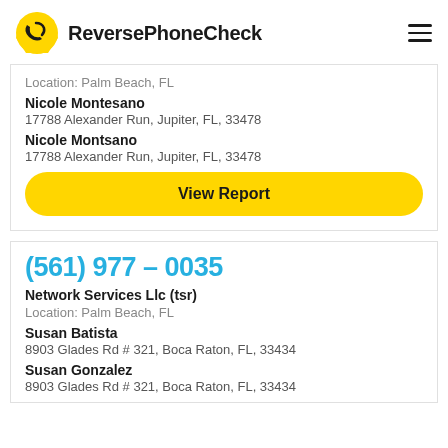ReversePhoneCheck
Location: Palm Beach, FL
Nicole Montesano
17788 Alexander Run, Jupiter, FL, 33478
Nicole Montsano
17788 Alexander Run, Jupiter, FL, 33478
View Report
(561) 977 – 0035
Network Services Llc (tsr)
Location: Palm Beach, FL
Susan Batista
8903 Glades Rd # 321, Boca Raton, FL, 33434
Susan Gonzalez
8903 Glades Rd # 321, Boca Raton, FL, 33434